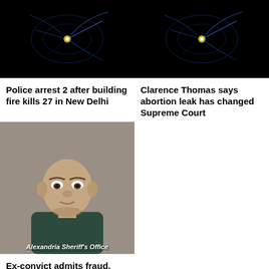[Figure (photo): Dark background with blue particle/light streaks and a glowing yellow dot — abstract science visualization (left)]
[Figure (photo): Dark background with blue particle/light streaks and a glowing yellow dot — abstract science visualization (right)]
Police arrest 2 after building fire kills 27 in New Delhi
Clarence Thomas says abortion leak has changed Supreme Court
[Figure (photo): Mugshot of a middle-aged man, Alexandria Sheriff's Office watermark at bottom]
Ex-convict admits fraud, bogus tax returns for pro athletes
[Figure (photo): Close-up photo of a tabby cat with green eyes looking up against a dark background]